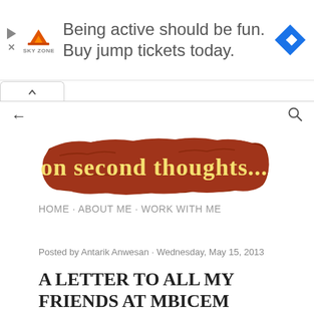[Figure (infographic): Sky Zone advertisement banner: 'Being active should be fun. Buy jump tickets today.' with Sky Zone logo on left and blue diamond arrow icon on right]
[Figure (screenshot): Browser navigation area with back arrow and search icon, and a tab with chevron]
[Figure (logo): Blog logo: 'on second thoughts...' in yellow/cream text on a rough brown/rust textured background]
HOME · ABOUT ME · WORK WITH ME
Posted by Antarik Anwesan · Wednesday, May 15, 2013
A LETTER TO ALL MY FRIENDS AT MBICEM